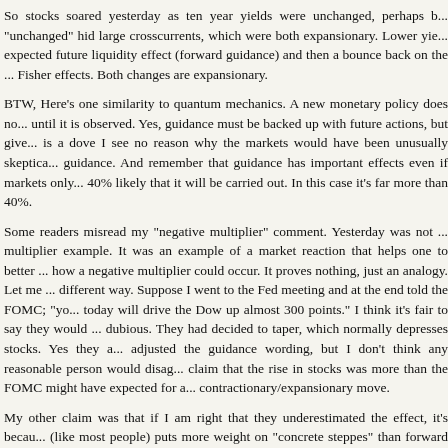So stocks soared yesterday as ten year yields were unchanged, perhaps b... "unchanged" hid large crosscurrents, which were both expansionary. Lower yie... expected future liquidity effect (forward guidance) and then a bounce back on the ... Fisher effects. Both changes are expansionary.
BTW, Here's one similarity to quantum mechanics. A new monetary policy does no... until it is observed. Yes, guidance must be backed up with future actions, but give... is a dove I see no reason why the markets would have been unusually skeptica... guidance. And remember that guidance has important effects even if markets only... 40% likely that it will be carried out. In this case it's far more than 40%.
Some readers misread my "negative multiplier" comment. Yesterday was not ... multiplier example. It was an example of a market reaction that helps one to better ... how a negative multiplier could occur. It proves nothing, just an analogy. Let me ... different way. Suppose I went to the Fed meeting and at the end told the FOMC; "yo... today will drive the Dow up almost 300 points." I think it's fair to say they would ... dubious. They had decided to taper, which normally depresses stocks. Yes they a... adjusted the guidance wording, but I don't think any reasonable person would disag... claim that the rise in stocks was more than the FOMC might have expected for a... contractionary/expansionary move.
My other claim was that if I am right that they underestimated the effect, it's becau... (like most people) puts more weight on "concrete steppes" than forward guidance...